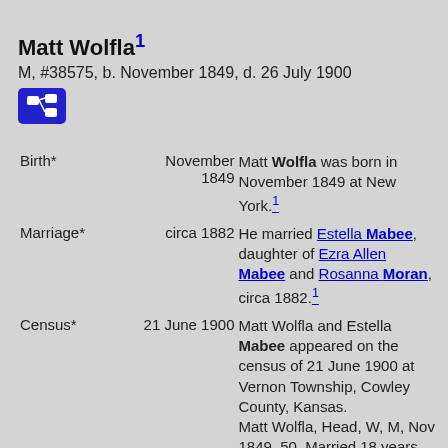Matt Wolfla¹
M, #38575, b. November 1849, d. 26 July 1900
| Event | Date | Description |
| --- | --- | --- |
| Birth* | November 1849 | Matt Wolfla was born in November 1849 at New York.¹ |
| Marriage* | circa 1882 | He married Estella Mabee, daughter of Ezra Allen Mabee and Rosanna Moran, circa 1882.¹ |
| Census* | 21 June 1900 | Matt Wolfla and Estella Mabee appeared on the census of 21 June 1900 at Vernon Township, Cowley County, Kansas.
Matt Wolfla, Head, W, M, Nov 1849, 50, Married 18 years, New York. |